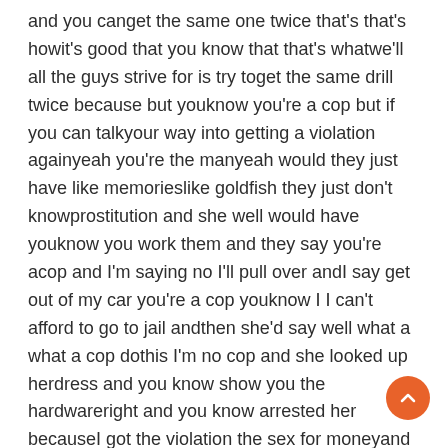and you canget the same one twice that's that's howit's good that you know that that's whatwe'll all the guys strive for is try toget the same drill twice because but youknow you're a cop but if you can talkyour way into getting a violation againyeah you're the manyeah would they just have like memorieslike goldfish they just don't knowprostitution and she well would have youknow you work them and they say you're acop and I'm saying no I'll pull over andI say get out of my car you're a cop youknow I I can't afford to go to jail andthen she'd say well what a what a cop dothis I'm no cop and she looked up herdress and you know show you the hardwareright and you know arrested her becauseI got the violation the sex for moneyand then a couple weeks later I see herout in the street and I pull over andshe goes hey officer Escoto how youdoing and I said I'm doing good you knowthe last time I saw you unfortunately Iarrested you but you know when youshowed me what you had I really got youknow I really liked itkidding me you did yeah that's good whatcanget in the car and I go yeah and shegoes are you working and I said no I'moff-dutyso she gets in and she goes well